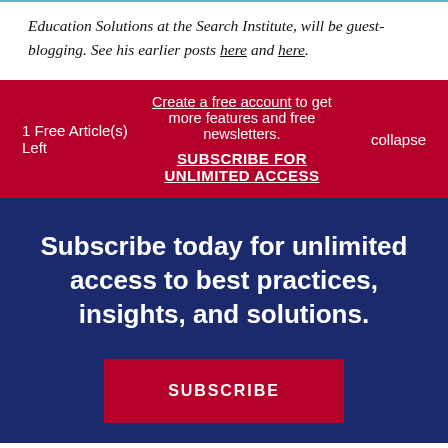Education Solutions at the Search Institute, will be guest-blogging. See his earlier posts here and here.
1 Free Article(s) Left
Create a free account to get more features and free newsletters.
SUBSCRIBE FOR UNLIMITED ACCESS
collapse
Subscribe today for unlimited access to best practices, insights, and solutions.
SUBSCRIBE